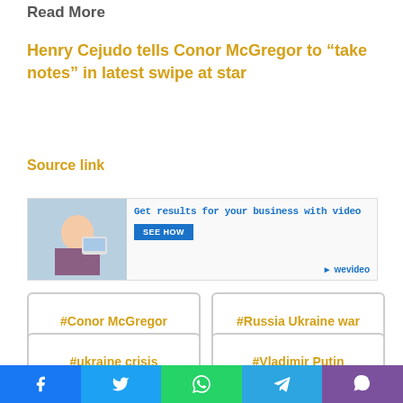Read More
Henry Cejudo tells Conor McGregor to “take notes” in latest swipe at star
Source link
[Figure (screenshot): WeVideo advertisement banner: 'Get results for your business with video' with a 'SEE HOW' button and WeVideo logo]
#Conor McGregor
#Russia Ukraine war
#ukraine crisis
#Vladimir Putin
Facebook | Twitter | WhatsApp | Telegram | Viber social share bar